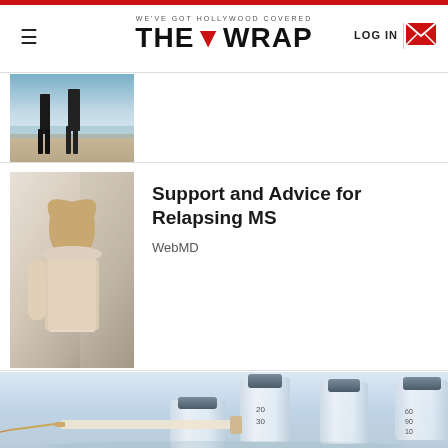THE WRAP — WE'VE GOT HOLLYWOOD COVERED
[Figure (photo): Partial view of two people walking on a beach (legs visible)]
[Figure (photo): Woman with blonde hair leaning against a wall with eyes closed, wearing a light pink top]
Support and Advice for Relapsing MS
WebMD
[Figure (photo): Medical vials and a syringe on a light blue background]